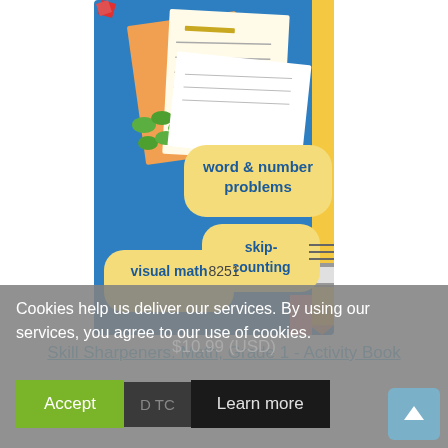[Figure (illustration): Book cover of 'Skill Sharpeners: Math, Grade 1 - Activity Book' showing colorful math activity book with labels 'word & number problems', 'skip-counting', 'visual math' on yellow rounded badges against a blue background, with pencils and worksheet pages visible.]
Skill Sharpeners: Math, Grade 1 - Activity Book
8251
$10.99 (USD)
Cookies help us deliver our services. By using our services, you agree to our use of cookies.